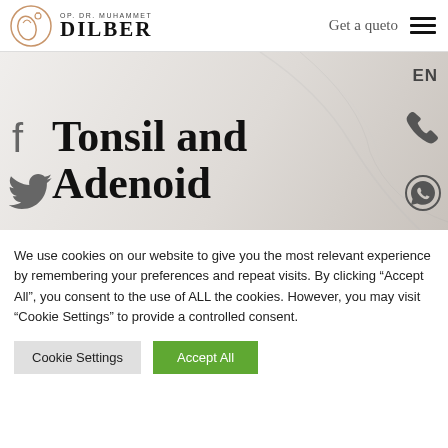OP. DR. MUHAMMET DILBER | Get a queto
Tonsil and Adenoid
We use cookies on our website to give you the most relevant experience by remembering your preferences and repeat visits. By clicking “Accept All”, you consent to the use of ALL the cookies. However, you may visit "Cookie Settings" to provide a controlled consent.
Cookie Settings | Accept All